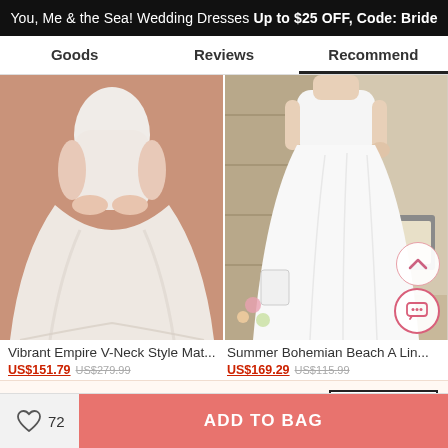You, Me & the Sea! Wedding Dresses Up to $25 OFF, Code: Bride
Goods | Reviews | Recommend
[Figure (photo): Pregnant woman in white empire V-neck maternity wedding dress against brown background]
[Figure (photo): Woman in white summer bohemian beach A-line wedding dress near wooden doors with flowers]
Vibrant Empire V-Neck Style Mat...
Summer Bohemian Beach A Lin...
US$151.79  US$279.99
US$169.29  US$115.99
× Get $5 off for your first order!
CLAIM NOW
72
ADD TO BAG